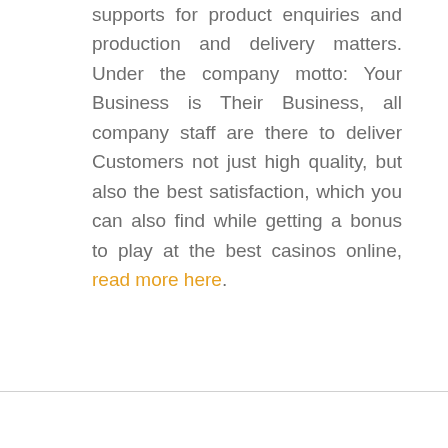supports for product enquiries and production and delivery matters. Under the company motto: Your Business is Their Business, all company staff are there to deliver Customers not just high quality, but also the best satisfaction, which you can also find while getting a bonus to play at the best casinos online, read more here.